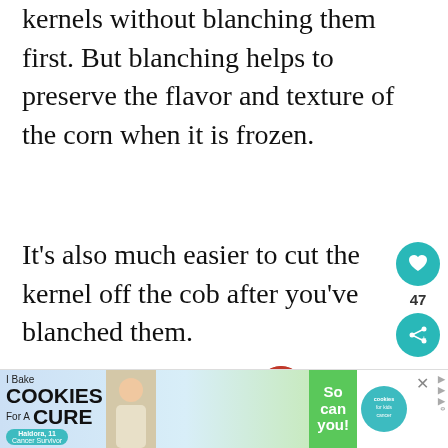Technically yes, you can freeze corn kernels without blanching them first. But blanching helps to preserve the flavor and texture of the corn when it is frozen.
It's also much easier to cut the kernels off the cob after you've blanched them.
[Figure (infographic): Social sharing sidebar with heart/like button showing teal circle with heart icon, count of 47, and share button with teal circle]
[Figure (infographic): What's Next widget showing a tomato image thumbnail and text 'How To Freeze Tomatoes...']
[Figure (infographic): Advertisement banner: I Bake COOKIES For A CURE featuring Haldora, 11 Cancer Survivor. So can you! cookies for kids cancer logo. With person image and Mediavine logo.]